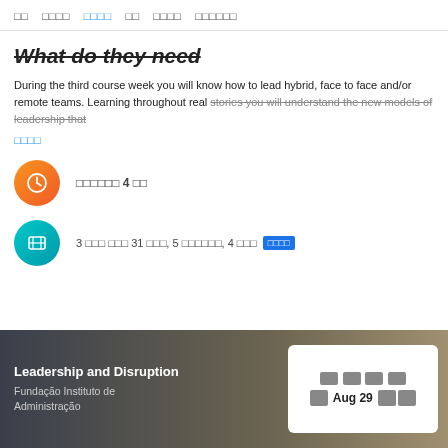□□  □□□□  □□□□  □□  □□□□  □□□□□□
What do they need
During the third course week you will know how to lead hybrid, face to face and/or remote teams. Learning throughout real stories you will understand the new models of leadership that
□□□□
□□□□□□ 4 □□
3 □□□ □□□ 31 □□□, 5 □□□□□□, 4 □□□  □□□□
Leadership and Disruption
Fundação Instituto de Administração
□□□□
□ Aug 29 □□